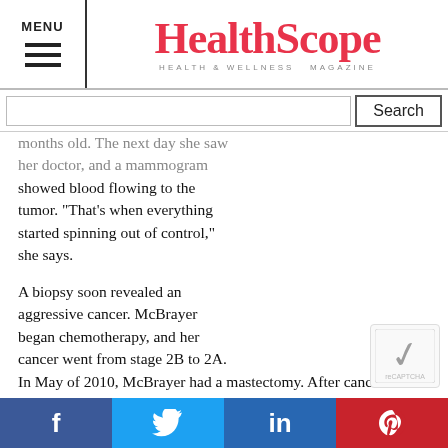MENU | HealthScope — HEALTH & WELLNESS MAGAZINE
months old. The next day she saw her doctor, and a mammogram showed blood flowing to the tumor. "That's when everything started spinning out of control," she says.
A biopsy soon revealed an aggressive cancer. McBrayer began chemotherapy, and her cancer went from stage 2B to 2A. In May of 2010, McBrayer had a mastectomy. After cancer was found in one lymph node, she had additional chemotherapy and then radiation. Now she takes an estrogen blocking medication to inhibit the growth of any remaining cancer cells. "I took so much chemotherapy, I went into menopause," Beth says. "At 35, I went from having a baby straight into menopause within six months. That was very difficult."
Beth grew up on Signal Mountain and credits her husband, parents, church and coworkers at Regions Bank for helping her and her family get through this difficult time. "I was so weak during my chemothera... and it was amazing how everyone came together and got on a s...
f  Twitter  in  Pinterest